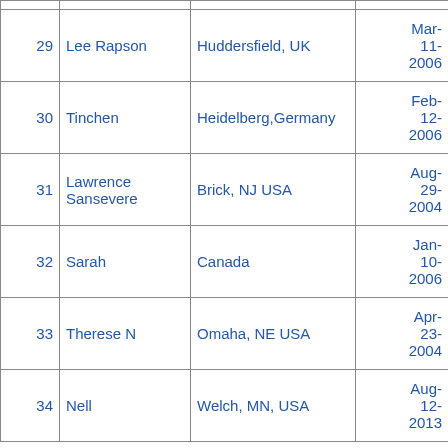| # | Name | Location | Date |  |  |
| --- | --- | --- | --- | --- | --- |
| 29 | Lee Rapson | Huddersfield, UK | Mar-11-2006 | 178 | 2926 |
| 30 | Tinchen | Heidelberg,Germany | Feb-12-2006 | 1441 | 4948 |
| 31 | Lawrence Sansevere | Brick, NJ USA | Aug-29-2004 | 376 | 3836 |
| 32 | Sarah | Canada | Jan-10-2006 | 288 | 2478 |
| 33 | Therese N | Omaha, NE USA | Apr-23-2004 | 516 | 4135 |
| 34 | Nell | Welch, MN, USA | Aug-12-2013 | 586 | 4364 |